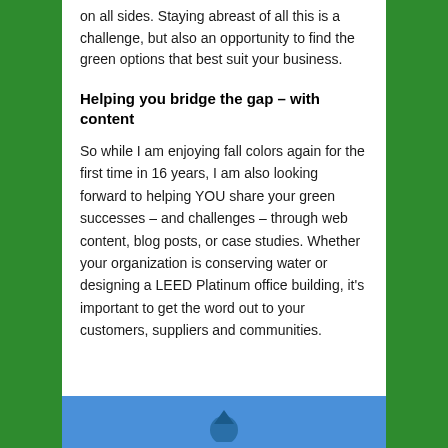on all sides. Staying abreast of all this is a challenge, but also an opportunity to find the green options that best suit your business.
Helping you bridge the gap – with content
So while I am enjoying fall colors again for the first time in 16 years, I am also looking forward to helping YOU share your green successes – and challenges – through web content, blog posts, or case studies. Whether your organization is conserving water or designing a LEED Platinum office building, it's important to get the word out to your customers, suppliers and communities.
[Figure (photo): Blue banner or image section at the bottom of the page]